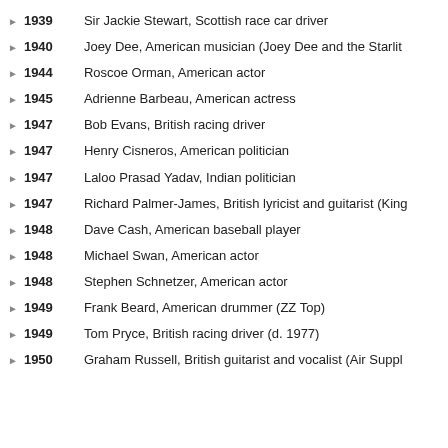1939 Sir Jackie Stewart, Scottish race car driver
1940 Joey Dee, American musician (Joey Dee and the Starlit
1944 Roscoe Orman, American actor
1945 Adrienne Barbeau, American actress
1947 Bob Evans, British racing driver
1947 Henry Cisneros, American politician
1947 Laloo Prasad Yadav, Indian politician
1947 Richard Palmer-James, British lyricist and guitarist (King
1948 Dave Cash, American baseball player
1948 Michael Swan, American actor
1948 Stephen Schnetzer, American actor
1949 Frank Beard, American drummer (ZZ Top)
1949 Tom Pryce, British racing driver (d. 1977)
1950 Graham Russell, British guitarist and vocalist (Air Suppl